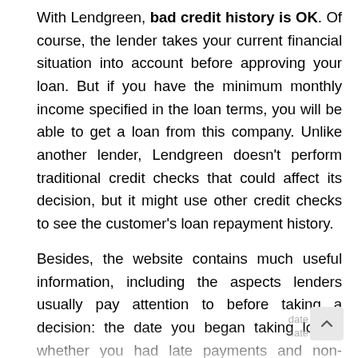With Lendgreen, bad credit history is OK. Of course, the lender takes your current financial situation into account before approving your loan. But if you have the minimum monthly income specified in the loan terms, you will be able to get a loan from this company. Unlike another lender, Lendgreen doesn't perform traditional credit checks that could affect its decision, but it might use other credit checks to see the customer's loan repayment history.
Besides, the website contains much useful information, including the aspects lenders usually pay attention to before taking a decision: the date you began taking loans, whether you had late payments and non-payments, whether you have...